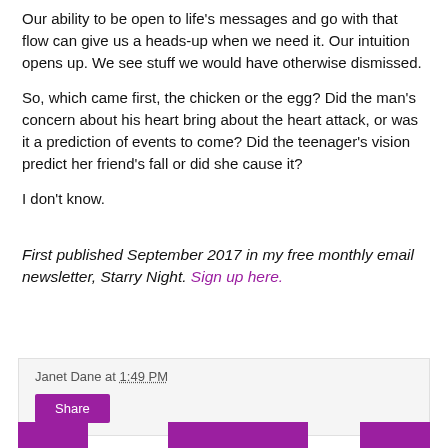Our ability to be open to life's messages and go with that flow can give us a heads-up when we need it. Our intuition opens up. We see stuff we would have otherwise dismissed.
So, which came first, the chicken or the egg? Did the man's concern about his heart bring about the heart attack, or was it a prediction of events to come? Did the teenager's vision predict her friend's fall or did she cause it?
I don't know.
First published September 2017 in my free monthly email newsletter, Starry Night. Sign up here.
Janet Dane at 1:49 PM
Share